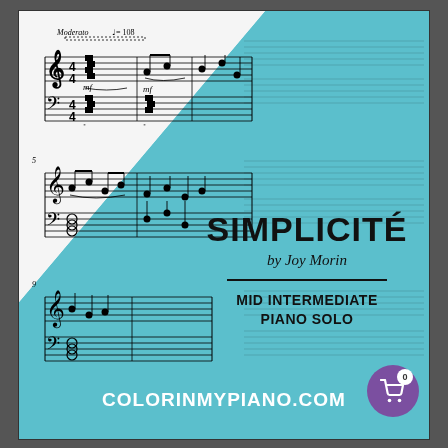[Figure (illustration): Sheet music cover art for 'Simplicité' by Joy Morin. Shows three rows of piano sheet music notation on the left/white side, with a diagonal teal background on the right. Moderato ♩= 108 tempo marking visible at top.]
SIMPLICITÉ
by Joy Morin
MID INTERMEDIATE PIANO SOLO
COLORINMYPIANO.COM